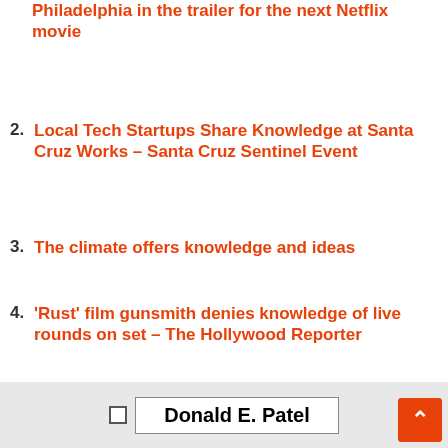Philadelphia in the trailer for the next Netflix movie
Local Tech Startups Share Knowledge at Santa Cruz Works – Santa Cruz Sentinel Event
The climate offers knowledge and ideas
'Rust' film gunsmith denies knowledge of live rounds on set – The Hollywood Reporter
Donald E. Patel